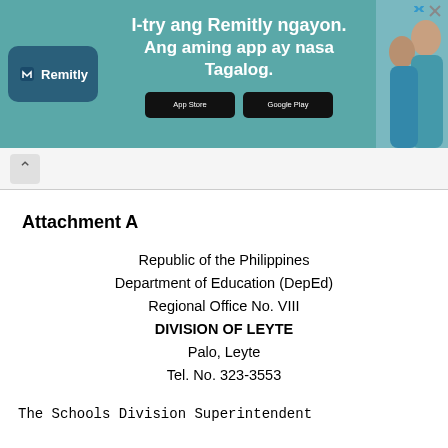[Figure (other): Remitly advertisement banner in teal/green color. Shows Remitly logo on left, text 'I-try ang Remitly ngayon. Ang aming app ay nasa Tagalog.' in center, App Store and Google Play download buttons, and a photo of two smiling people on the right.]
Attachment A
Republic of the Philippines
Department of Education (DepEd)
Regional Office No. VIII
DIVISION OF LEYTE
Palo, Leyte
Tel. No. 323-3553
The Schools Division Superintendent